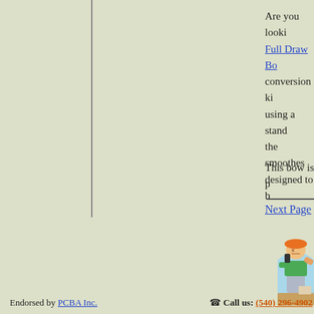Are you looking for Full Draw Bow conversion kit using a standard the smoothes designed to b
This bow is p
Next Page
[Figure (illustration): Cartoon illustration of a person wearing an orange hard hat, green shirt, and grey apron, talking on a phone at a desk. Blue circular background.]
Endorsed by PCBA Inc.
☎ Call us: (540) 296-4902